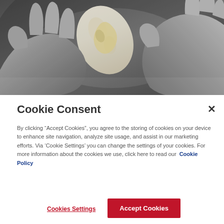[Figure (photo): Close-up of gloved hands handling a white medical device or ostomy product on a grey background]
Cookie Consent
By clicking “Accept Cookies”, you agree to the storing of cookies on your device to enhance site navigation, analyze site usage, and assist in our marketing efforts. Via ‘Cookie Settings’ you can change the settings of your cookies. For more information about the cookies we use, click here to read our Cookie Policy
Cookies Settings
Accept Cookies